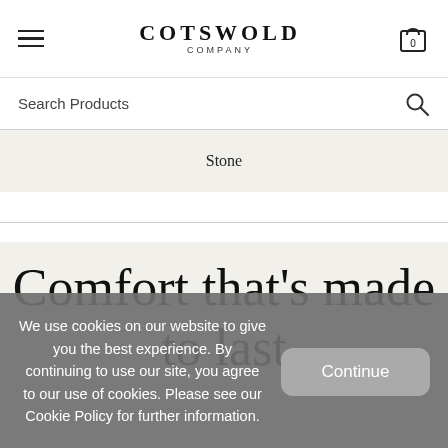COTSWOLD COMPANY
Search Products
Stone
Comfort that's made to last
We use cookies on our website to give you the best experience. By continuing to use our site, you agree to our use of cookies. Please see our Cookie Policy for further information.
Continue